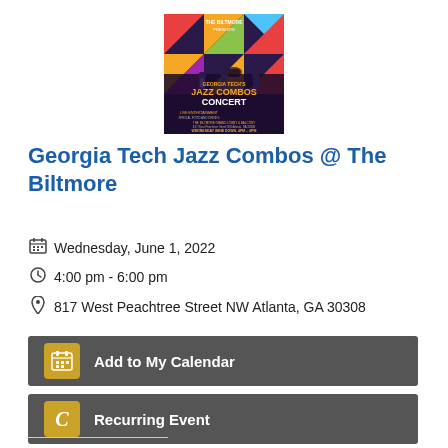[Figure (illustration): Concert poster for Georgia Tech Jazz Combos Concert at The Biltmore showing silhouettes of musicians against a colorful geometric background, Wednesday Wine Down 4PM-6PM]
Georgia Tech Jazz Combos @ The Biltmore
Wednesday, June 1, 2022
4:00 pm - 6:00 pm
817 West Peachtree Street NW Atlanta, GA 30308
Add to My Calendar
Recurring Event